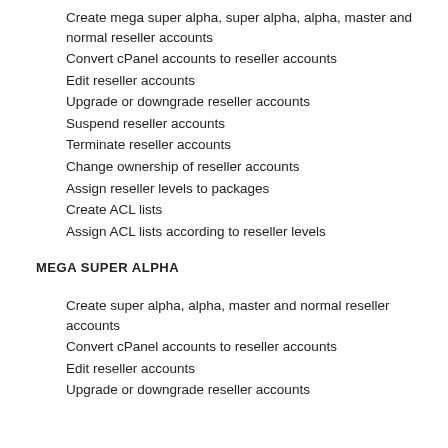Create mega super alpha, super alpha, alpha, master and normal reseller accounts
Convert cPanel accounts to reseller accounts
Edit reseller accounts
Upgrade or downgrade reseller accounts
Suspend reseller accounts
Terminate reseller accounts
Change ownership of reseller accounts
Assign reseller levels to packages
Create ACL lists
Assign ACL lists according to reseller levels
MEGA SUPER ALPHA
Create super alpha, alpha, master and normal reseller accounts
Convert cPanel accounts to reseller accounts
Edit reseller accounts
Upgrade or downgrade reseller accounts